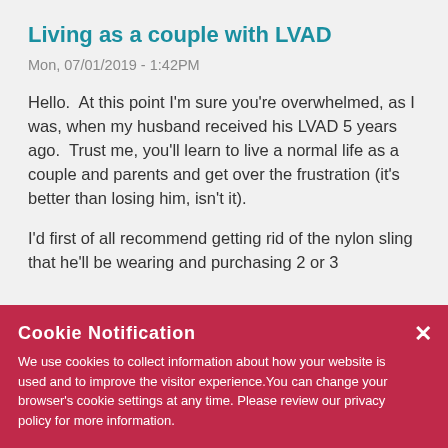Living as a couple with LVAD
Mon, 07/01/2019 - 1:42PM
Hello.  At this point I'm sure you're overwhelmed, as I was, when my husband received his LVAD 5 years ago.  Trust me, you'll learn to live a normal life as a couple and parents and get over the frustration (it's better than losing him, isn't it).
I'd first of all recommend getting rid of the nylon sling that he'll be wearing and purchasing 2 or 3 [cotton/mesh] undershirts.  That will eliminate his [discomfort] and make it more comfortable him to [move and sleep].  He will have all three medical items snug up next to his [body]...
Cookie Notification
We use cookies to collect information about how your website is used and to improve the visitor experience. You can change your browser's cookie settings at any time. Please review our privacy policy for more information.